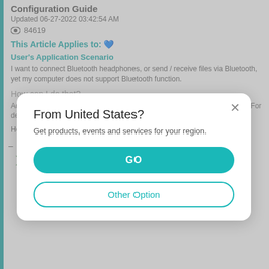Configuration Guide
Updated 06-27-2022 03:42:54 AM
84619
This Article Applies to: ♥
User's Application Scenario
I want to connect Bluetooth headphones, or send / receive files via Bluetooth, yet my computer does not support Bluetooth function.
How can I do that?
Add a TP-Link WLAN Bluetooth adapter to your computer to get Bluetooth. For details, follow the steps below.
Here takes Archer TX3000E (UN) 1.0 as a demonstration.
Step 1. Connect the adapter to your computer
Step 2. Install Bluetooth driver
[Figure (screenshot): Modal dialog overlay on a webpage. Title: 'From United States?'. Body text: 'Get products, events and services for your region.' Two buttons: 'GO' (teal filled) and 'Other Option' (teal outline). Close X button in top-right.]